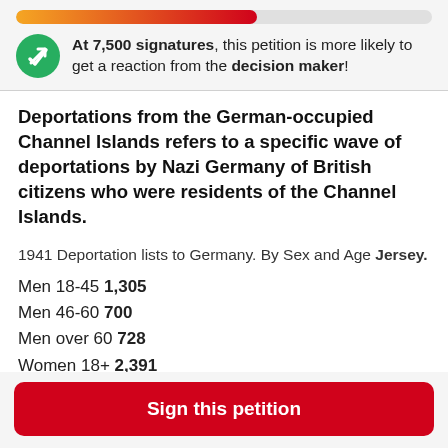[Figure (other): Progress bar showing petition signature progress, approximately 58% filled with orange-to-red gradient]
At 7,500 signatures, this petition is more likely to get a reaction from the decision maker!
Deportations from the German-occupied Channel Islands refers to a specific wave of deportations by Nazi Germany of British citizens who were residents of the Channel Islands.
1941 Deportation lists to Germany. By Sex and Age Jersey.
Men 18-45 1,305
Men 46-60 700
Men over 60 728
Women 18+ 2,391
Children to 18 403
Sign this petition